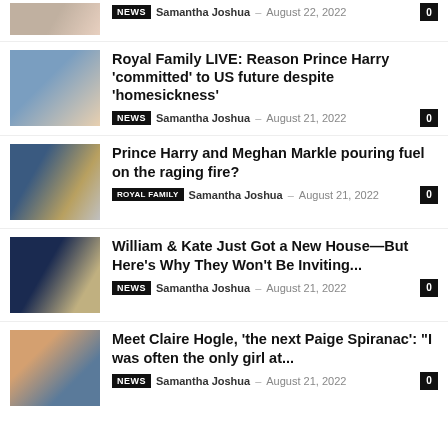[Figure (photo): Partial thumbnail of a person at top of page]
NEWS  Samantha Joshua  –  August 22, 2022  0
[Figure (photo): Royal family photo with Queen, Meghan and Harry]
Royal Family LIVE: Reason Prince Harry 'committed' to US future despite 'homesickness'
NEWS  Samantha Joshua  –  August 21, 2022  0
[Figure (photo): Meghan Markle and Prince Harry]
Prince Harry and Meghan Markle pouring fuel on the raging fire?
ROYAL FAMILY  Samantha Joshua  –  August 21, 2022  0
[Figure (photo): Prince Harry and Kate]
William & Kate Just Got a New House—But Here's Why They Won't Be Inviting...
NEWS  Samantha Joshua  –  August 21, 2022  0
[Figure (photo): Claire Hogle photo]
Meet Claire Hogle, 'the next Paige Spiranac': "I was often the only girl at...
NEWS  Samantha Joshua  –  August 21, 2022  0